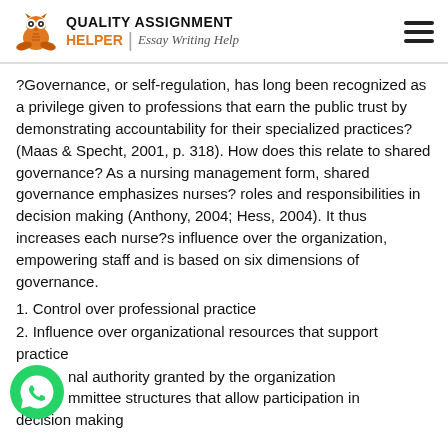QUALITY ASSIGNMENT HELPER | Essay Writing Help
?Governance, or self-regulation, has long been recognized as a privilege given to professions that earn the public trust by demonstrating accountability for their specialized practices? (Maas & Specht, 2001, p. 318). How does this relate to shared governance? As a nursing management form, shared governance emphasizes nurses? roles and responsibilities in decision making (Anthony, 2004; Hess, 2004). It thus increases each nurse?s influence over the organization, empowering staff and is based on six dimensions of governance.
1. Control over professional practice
2. Influence over organizational resources that support practice
3. Formal authority granted by the organization
4. Committee structures that allow participation in decision making